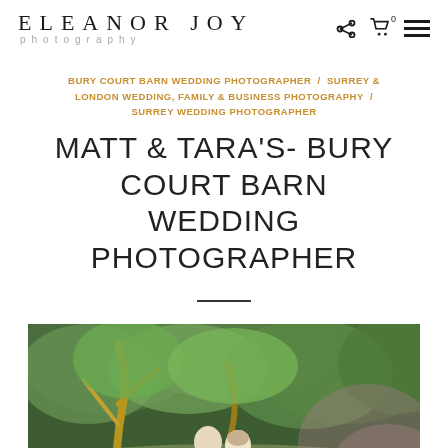ELEANOR JOY photography
BURY COURT BARN WEDDING PHOTOGRAPHER / SURREY & LONDON WEDDING, FAMILY & BUSINESS PHOTOGRAPHY / SURREY WEDDING PHOTOGRAPHER
MATT & TARA'S- BURY COURT BARN WEDDING PHOTOGRAPHER
[Figure (photo): Outdoor wedding photo showing a couple under trees with lush green foliage in a garden setting]